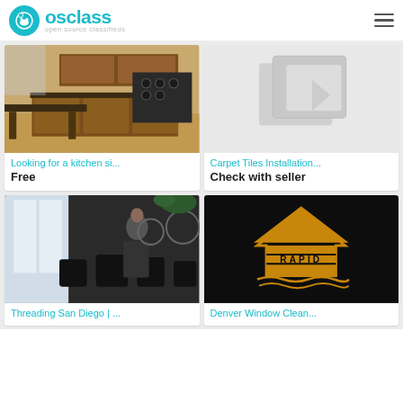osclass open source classifieds
[Figure (photo): Kitchen interior with wooden cabinets and stove]
Looking for a kitchen si...
Free
[Figure (photo): Placeholder image with carpet tile graphic]
Carpet Tiles Installation...
Check with seller
[Figure (photo): Hair salon interior with stylist working]
Threading San Diego | ...
[Figure (logo): Rapid Home Services logo on black background]
Denver Window Clean...